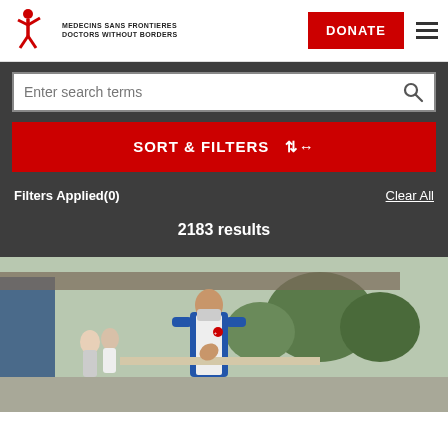[Figure (logo): MSF Médecins Sans Frontières / Doctors Without Borders logo with red figure icon]
DONATE
Enter search terms
SORT & FILTERS
Filters Applied(0)
Clear All
2183 results
[Figure (photo): An MSF worker in a blue vest and face mask leaning over a table outdoors, with other people and trees visible in the background]